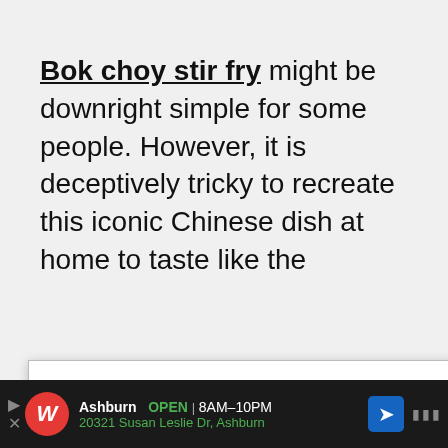Bok choy stir fry might be downright simple for some people. However, it is deceptively tricky to recreate this iconic Chinese dish at home to taste like the …rmation …bok
We use cookies on our website to give you the most relevant experience by remembering your preferences and repeat visits. By clicking "ACCEPT ALL", you consent to the use of ALL the cookies. However, you may visit "Cookie Settings" to provide a controlled consent.
Cookie Settings   REJECT ALL
ACCEPT ALL
Ashburn OPEN | 8AM–10PM 20321 Susan Leslie Dr, Ashburn